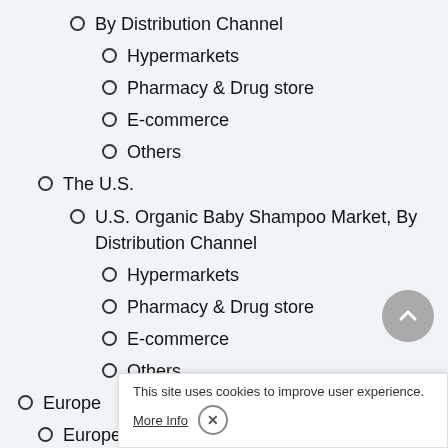By Distribution Channel
Hypermarkets
Pharmacy & Drug store
E-commerce
Others
The U.S.
U.S. Organic Baby Shampoo Market, By Distribution Channel
Hypermarkets
Pharmacy & Drug store
E-commerce
Others
Europe
Europe Organic Baby Shampoo Market, By Distribution Channel
Hypermarkets
Pharmacy & Drug store
E-commerce
Others